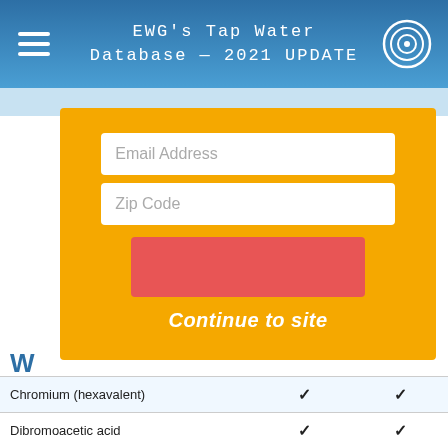EWG's Tap Water Database — 2021 UPDATE
[Figure (screenshot): Orange modal overlay with email address and zip code input fields, a red submit button, and 'Continue to site' link text. Displayed over a webpage showing EWG's Tap Water Database content.]
| Contaminant |  |  |
| --- | --- | --- |
| Chromium (hexavalent) | ✓ | ✓ |
| Dibromoacetic acid | ✓ | ✓ |